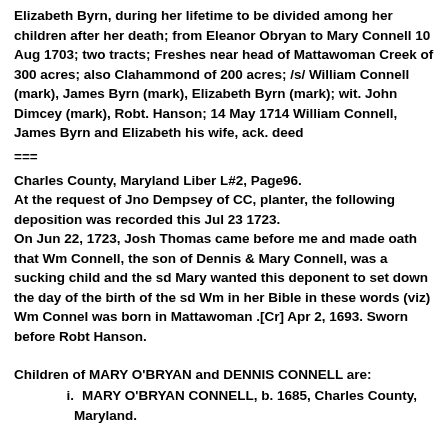Elizabeth Byrn, during her lifetime to be divided among her children after her death; from Eleanor Obryan to Mary Connell 10 Aug 1703; two tracts; Freshes near head of Mattawoman Creek of 300 acres; also Clahammond of 200 acres; /s/ William Connell (mark), James Byrn (mark), Elizabeth Byrn (mark); wit. John Dimcey (mark), Robt. Hanson; 14 May 1714 William Connell, James Byrn and Elizabeth his wife, ack. deed
===
Charles County, Maryland Liber L#2, Page96.
At the request of Jno Dempsey of CC, planter, the following deposition was recorded this Jul 23 1723.
On Jun 22, 1723, Josh Thomas came before me and made oath that Wm Connell, the son of Dennis & Mary Connell, was a sucking child and the sd Mary wanted this deponent to set down the day of the birth of the sd Wm in her Bible in these words (viz) Wm Connel was born in Mattawoman .[Cr] Apr 2, 1693. Sworn before Robt Hanson.
Children of MARY O'BRYAN and DENNIS CONNELL are:
i.    MARY O'BRYAN CONNELL, b. 1685, Charles County, Maryland.